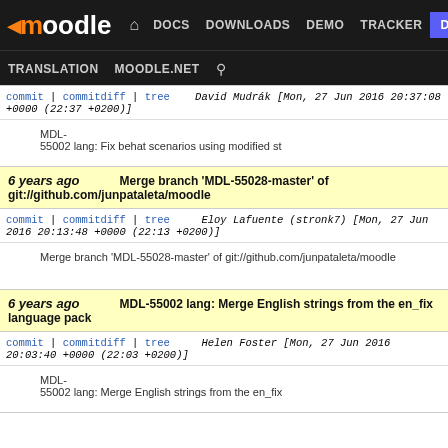moodle — DOCS DOWNLOADS DEMO TRACKER DEV | TRANSLATION MOODLE.NET
commit | commitdiff | tree   David Mudrák [Mon, 27 Jun 2016 20:37:08 +0000 (22:37 +0200)]
MDL-55002 lang: Fix behat scenarios using modified st
6 years ago   Merge branch 'MDL-55028-master' of git://github.com/junpataleta/moodle
commit | commitdiff | tree   Eloy Lafuente (stronk7) [Mon, 27 Jun 2016 20:13:48 +0000 (22:13 +0200)]
Merge branch 'MDL-55028-master' of git://github.com/junpataleta/moodle
6 years ago   MDL-55002 lang: Merge English strings from the en_fix language pack
commit | commitdiff | tree   Helen Foster [Mon, 27 Jun 2016 20:03:40 +0000 (22:03 +0200)]
MDL-55002 lang: Merge English strings from the en_fix